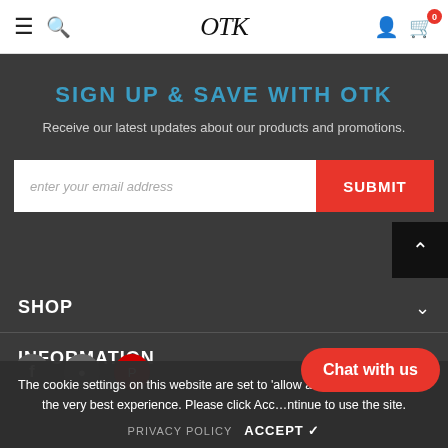OTK — navigation bar with menu, search, logo, user, cart (0)
SIGN UP & SAVE WITH OTK
Receive our latest updates about our products and promotions.
enter your email address  SUBMIT
SHOP
INFORMATION
The cookie settings on this website are set to 'allow all cookies' to give you the very best experience. Please click Accept to continue to use the site.
PRIVACY POLICY  ACCEPT ✔
Chat with us